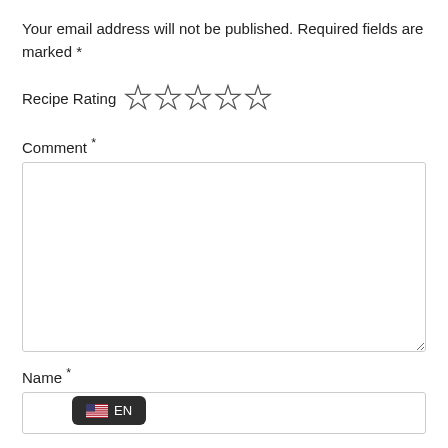Your email address will not be published. Required fields are marked *
Recipe Rating ☆☆☆☆☆
Comment *
[Figure (other): Empty comment textarea input field]
Name *
[Figure (other): Name text input field with language badge showing US flag and EN label]